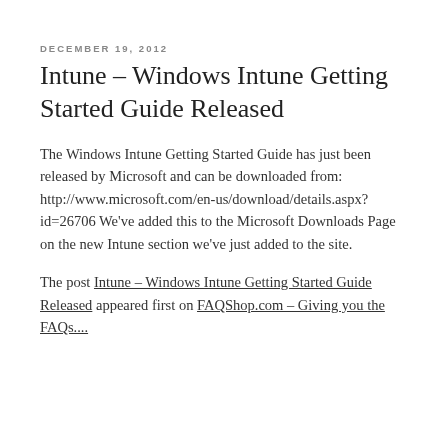DECEMBER 19, 2012
Intune – Windows Intune Getting Started Guide Released
The Windows Intune Getting Started Guide has just been released by Microsoft and can be downloaded from: http://www.microsoft.com/en-us/download/details.aspx?id=26706 We've added this to the Microsoft Downloads Page on the new Intune section we've just added to the site.
The post Intune – Windows Intune Getting Started Guide Released appeared first on FAQShop.com – Giving you the FAQs....